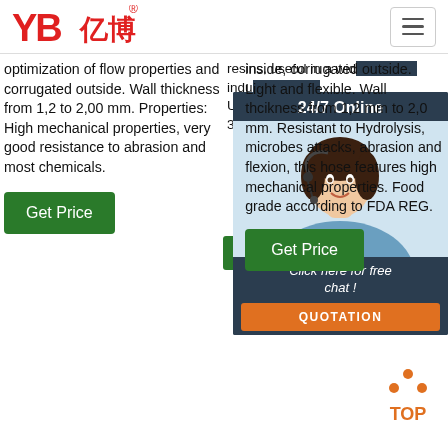[Figure (logo): YB亿博 logo in red with registered trademark symbol]
optimization of flow properties and corrugated outside. Wall thickness from 1,2 to 2,00 mm. Properties: High mechanical properties, very good resistance to abrasion and most chemicals.
inside, corrugated outside. Light and flexible. Wall thcikness from 1,2 mm to 2,0 mm. Resistant to Hydrolysis, microbes attacks, abrasion and flexion, this hose features high mechanical properties. Food grade according to FDA REG.
resins, useful in a wide range of industrial... Us... 384...
[Figure (photo): Customer service agent woman with headset smiling, 24/7 Online chat panel]
Get Price (left column button)
Get Price (middle column button)
[Figure (infographic): TOP scroll-to-top icon with orange dots and text]